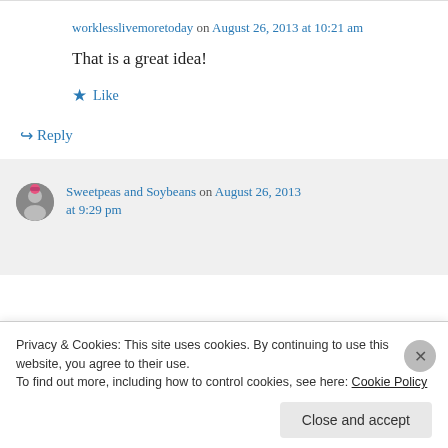worklesslivemoretoday on August 26, 2013 at 10:21 am
That is a great idea!
Like
Reply
Sweetpeas and Soybeans on August 26, 2013 at 9:29 pm
Privacy & Cookies: This site uses cookies. By continuing to use this website, you agree to their use.
To find out more, including how to control cookies, see here: Cookie Policy
Close and accept